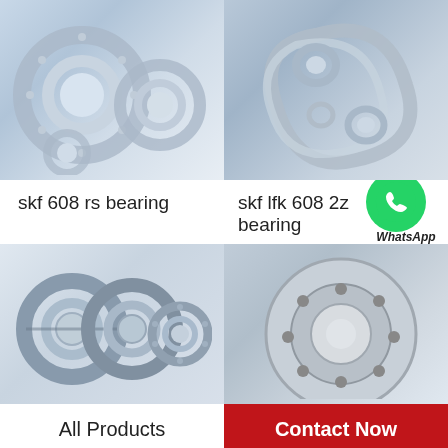[Figure (photo): SKF 608 RS angular contact ball bearings, multiple bearings shown on white background]
[Figure (photo): SKF LFK 608 2Z bearings with rings arranged on grey background]
skf 608 rs bearing
skf lfk 608 2z bearing
[Figure (illustration): WhatsApp Online logo/icon - green circle with phone handset]
WhatsApp Online
[Figure (photo): Three small ball bearings on white background, two with rubber seals and one open]
[Figure (photo): Large industrial bearing hub/flange with bolt holes, close-up on blue background]
All Products
Contact Now